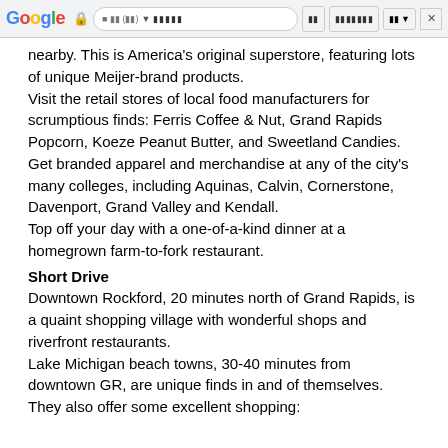Google [browser navigation bar]
nearby. This is America's original superstore, featuring lots of unique Meijer-brand products.
Visit the retail stores of local food manufacturers for scrumptious finds: Ferris Coffee & Nut, Grand Rapids Popcorn, Koeze Peanut Butter, and Sweetland Candies.
Get branded apparel and merchandise at any of the city's many colleges, including Aquinas, Calvin, Cornerstone, Davenport, Grand Valley and Kendall.
Top off your day with a one-of-a-kind dinner at a homegrown farm-to-fork restaurant.
Short Drive
Downtown Rockford, 20 minutes north of Grand Rapids, is a quaint shopping village with wonderful shops and riverfront restaurants.
Lake Michigan beach towns, 30-40 minutes from downtown GR, are unique finds in and of themselves. They also offer some excellent shopping: